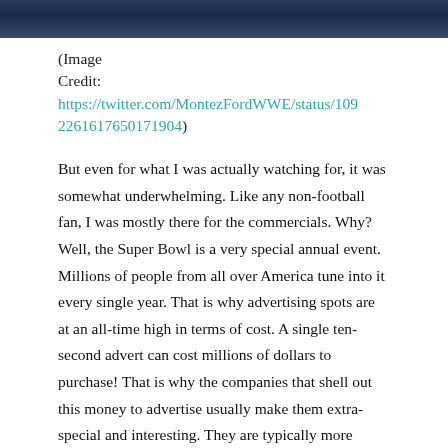[Figure (photo): Partial photo at top of page, dark blue tones showing figures]
(Image Credit: https://twitter.com/MontezFordWWE/status/1092261617650171904)
But even for what I was actually watching for, it was somewhat underwhelming. Like any non-football fan, I was mostly there for the commercials. Why? Well, the Super Bowl is a very special annual event. Millions of people from all over America tune into it every single year. That is why advertising spots are at an all-time high in terms of cost. A single ten-second advert can cost millions of dollars to purchase! That is why the companies that shell out this money to advertise usually make them extra-special and interesting. They are typically more original and fun to watch, since they want to be able to get more publicity and